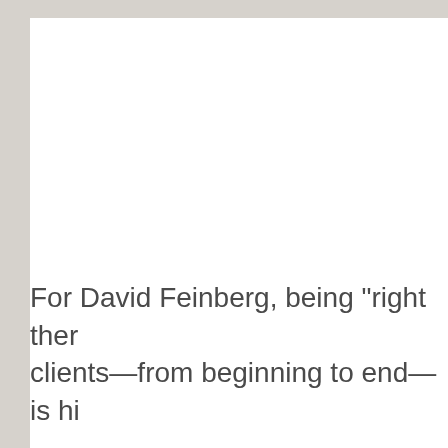For David Feinberg, being "right there" with clients—from beginning to end—is hi